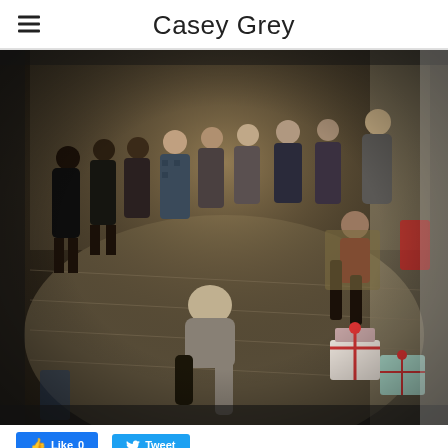Casey Grey
[Figure (photo): Group of people gathered in a room, standing in a circle or semicircle around a person seated on the floor. Some people are seated in chairs to the right. Gift boxes with ribbons are visible in the foreground, suggesting a celebration or party.]
Like 0   Tweet